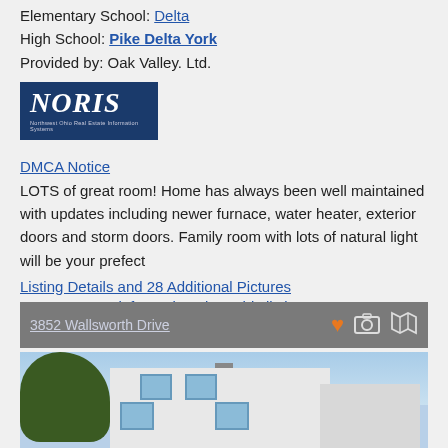Elementary School: Delta
High School: Pike Delta York
Provided by: Oak Valley. Ltd.
[Figure (logo): NORIS - Northwest Ohio Real Estate Information Systems logo, white text on dark blue background]
DMCA Notice
LOTS of great room! Home has always been well maintained with updates including newer furnace, water heater, exterior doors and storm doors. Family room with lots of natural light will be your prefect
Listing Details and 28 Additional Pictures
Request more information about this listing.
[Figure (screenshot): Listing bar showing address 3852 Wallsworth Drive with heart, camera, and map icons on gray background]
[Figure (photo): Exterior photo of a white two-story house with blue shutters, trees, and blue sky]